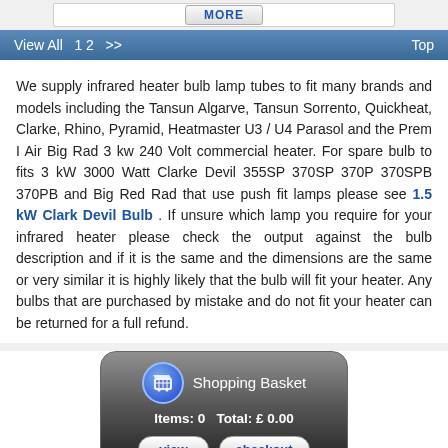View All  1 2  >>    Top
We supply infrared heater bulb lamp tubes to fit many brands and models including the Tansun Algarve, Tansun Sorrento, Quickheat, Clarke, Rhino, Pyramid, Heatmaster U3 / U4 Parasol and the Prem I Air Big Rad 3 kw 240 Volt commercial heater. For spare bulb to fits 3 kW 3000 Watt Clarke Devil 355SP 370SP 370P 370SPB 370PB and Big Red Rad that use push fit lamps please see 1.5 kW Clark Devil Bulb . If unsure which lamp you require for your infrared heater please check the output against the bulb description and if it is the same and the dimensions are the same or very similar it is highly likely that the bulb will fit your heater. Any bulbs that are purchased by mistake and do not fit your heater can be returned for a full refund.
[Figure (infographic): Shopping Basket widget showing Items: 0 Total: £ 0.00 with view and checkout buttons]